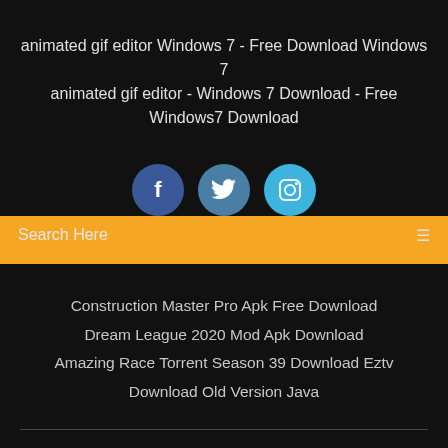animated gif editor Windows 7 - Free Download Windows 7 animated gif editor - Windows 7 Download - Free Windows7 Download
[Figure (other): Three social media icon buttons: Facebook (dark blue circle with f), Twitter (medium blue circle with bird), Instagram (light blue circle with camera icon)]
Search Here
Construction Master Pro Apk Free Download
Dream League 2020 Mod Apk Download
Amazing Race Torrent Season 39 Download Eztv
Download Old Version Java
Copyright ©2022 All rights reserved